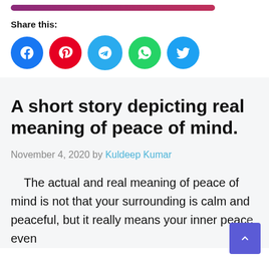[Figure (other): Pink/purple gradient bar at the top]
Share this:
[Figure (other): Social sharing icons: Facebook, Pinterest, Telegram, WhatsApp, Twitter]
A short story depicting real meaning of peace of mind.
November 4, 2020 by Kuldeep Kumar
The actual and real meaning of peace of mind is not that your surrounding is calm and peaceful, but it really means your inner peace even